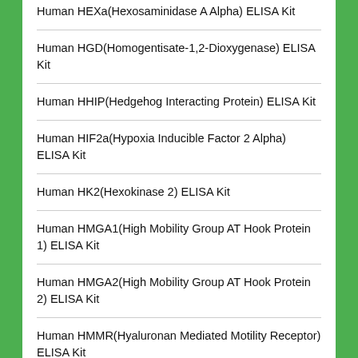Human HEXa(Hexosaminidase A Alpha) ELISA Kit
Human HGD(Homogentisate-1,2-Dioxygenase) ELISA Kit
Human HHIP(Hedgehog Interacting Protein) ELISA Kit
Human HIF2a(Hypoxia Inducible Factor 2 Alpha) ELISA Kit
Human HK2(Hexokinase 2) ELISA Kit
Human HMGA1(High Mobility Group AT Hook Protein 1) ELISA Kit
Human HMGA2(High Mobility Group AT Hook Protein 2) ELISA Kit
Human HMMR(Hyaluronan Mediated Motility Receptor) ELISA Kit